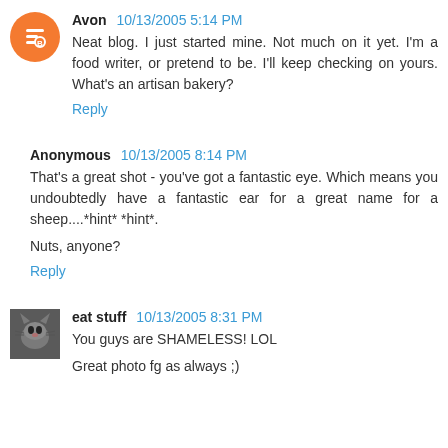Avon 10/13/2005 5:14 PM
Neat blog. I just started mine. Not much on it yet. I'm a food writer, or pretend to be. I'll keep checking on yours. What's an artisan bakery?
Reply
Anonymous 10/13/2005 8:14 PM
That's a great shot - you've got a fantastic eye. Which means you undoubtedly have a fantastic ear for a great name for a sheep....*hint* *hint*.
Nuts, anyone?
Reply
eat stuff 10/13/2005 8:31 PM
You guys are SHAMELESS! LOL
Great photo fg as always ;)